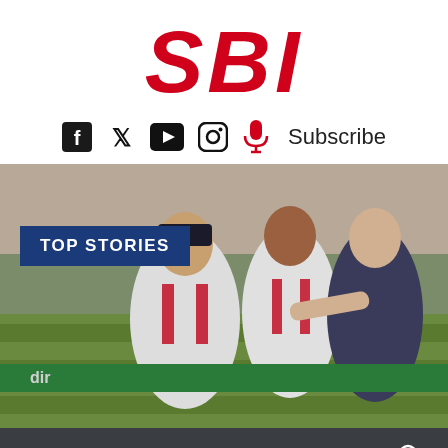SBI
Social icons: Facebook, Twitter, YouTube, Instagram, Podcast, Subscribe
[Figure (photo): Soccer/football match photo showing three players fighting for the ball. Two players in white/red striped jerseys (FC Utrecht style) and one in dark jersey. A blue badge overlay reads 'TOP STORIES' in white bold text.]
Menu  [search icon]